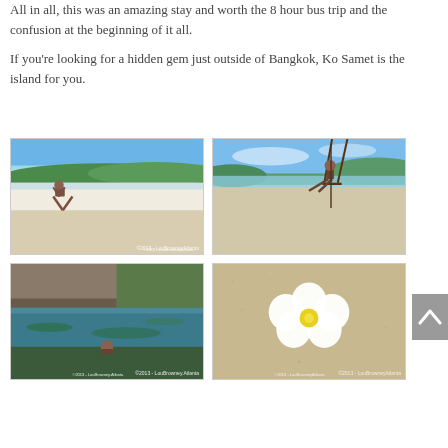All in all, this was an amazing stay and worth the 8 hour bus trip and the confusion at the beginning of it all.

If you're looking for a hidden gem just outside of Bangkok, Ko Samet is the island for you.
[Figure (photo): Person doing a handstand on a white sandy beach with green forested hills and blue sky in background. Watermark: ©2013 - LouBrowneyAtlanta]
[Figure (photo): Person sitting on a rope swing over a sandy beach with ocean and green trees in background]
[Figure (photo): Person in a resort pool surrounded by lush tropical greenery and traditional architecture. Watermark: ©2013 - LouBrowney.Atlanta]
[Figure (photo): White plumeria/frangipani flower with yellow center resting on sandy beach. Watermark: ©2013 - LouBrowneyAtlanta]